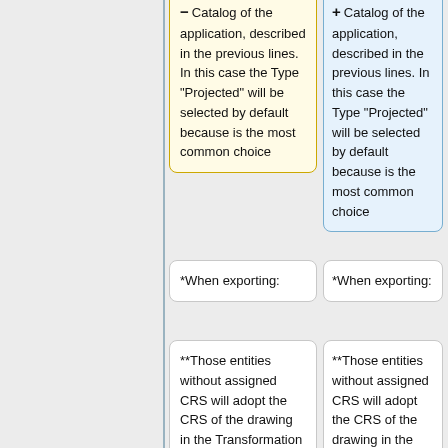Catalog of the application, described in the previous lines. In this case the Type "Projected" will be selected by default because is the most common choice
Catalog of the application, described in the previous lines. In this case the Type "Projected" will be selected by default because is the most common choice
*When exporting:
*When exporting:
**Those entities without assigned CRS will adopt the CRS of the drawing in the Transformation of coordinates
**Those entities without assigned CRS will adopt the CRS of the drawing in the Transformation of coordinates